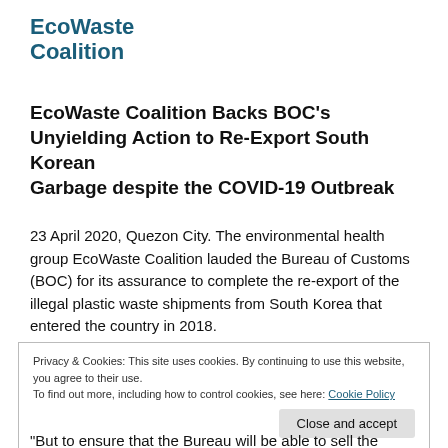EcoWaste Coalition
EcoWaste Coalition Backs BOC's Unyielding Action to Re-Export South Korean Garbage despite the COVID-19 Outbreak
23 April 2020, Quezon City. The environmental health group EcoWaste Coalition lauded the Bureau of Customs (BOC) for its assurance to complete the re-export of the illegal plastic waste shipments from South Korea that entered the country in 2018.
Privacy & Cookies: This site uses cookies. By continuing to use this website, you agree to their use.
To find out more, including how to control cookies, see here: Cookie Policy
Close and accept
“But to ensure that the Bureau will be able to sell the